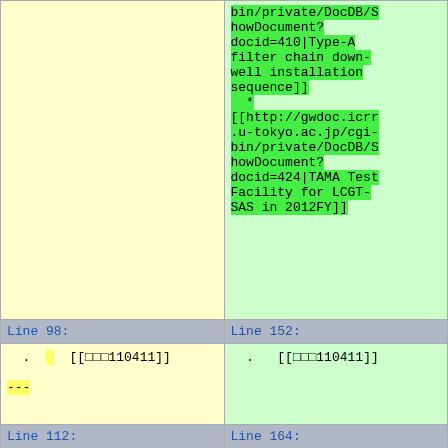| (left diff) | (right diff) |
| --- | --- |
| bin/private/DocDB/ShowDocument?docid=410|Type-A filter chain down-well installation sequence]]
  *
[[http://gwdoc.icrr.u-tokyo.ac.jp/cgi-bin/private/DocDB/ShowDocument?docid=424|TAMA Test Facility for LCGT-SAS in 2012FY]] | (same content right) |
| Line 98: | Line 152: |
| . [[□□□110411]]
--- | . [[□□□110411]] |
| Line 112: | Line 164: |
|  |  |
| Line 117: | Line 166: |